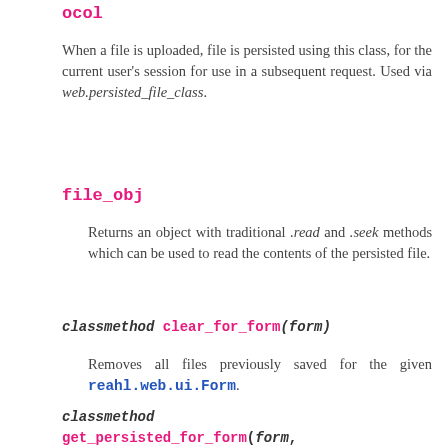ocol
When a file is uploaded, file is persisted using this class, for the current user's session for use in a subsequent request. Used via web.persisted_file_class.
file_obj
Returns an object with traditional .read and .seek methods which can be used to read the contents of the persisted file.
classmethod clear_for_form(form)
Removes all files previously saved for the given reahl.web.ui.Form.
classmethod get_persisted_for_form(form, input_name)
Returns the previously persisted file for the given reahl.web.ui.Form, using the given input_name as name.